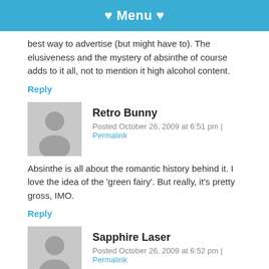♥ Menu ♥
best way to advertise (but might have to). The elusiveness and the mystery of absinthe of course adds to it all, not to mention it high alcohol content.
Reply
Retro Bunny
Posted October 26, 2009 at 6:51 pm | Permalink
Absinthe is all about the romantic history behind it. I love the idea of the 'green fairy'. But really, it's pretty gross, IMO.
Reply
Sapphire Laser
Posted October 26, 2009 at 6:52 pm | Permalink
[Figure (infographic): Social media share icons: Facebook (blue), Twitter (light blue), Pinterest (red), LinkedIn (blue)]